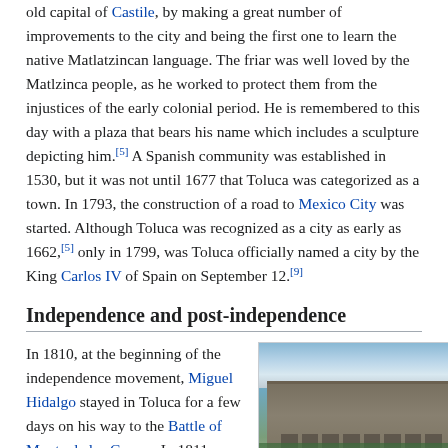old capital of Castile, by making a great number of improvements to the city and being the first one to learn the native Matlatzincan language. The friar was well loved by the Matlzinca people, as he worked to protect them from the injustices of the early colonial period. He is remembered to this day with a plaza that bears his name which includes a sculpture depicting him.[5] A Spanish community was established in 1530, but it was not until 1677 that Toluca was categorized as a town. In 1793, the construction of a road to Mexico City was started. Although Toluca was recognized as a city as early as 1662,[5] only in 1799, was Toluca officially named a city by the King Carlos IV of Spain on September 12.[9]
Independence and post-independence
In 1810, at the beginning of the independence movement, Miguel Hidalgo stayed in Toluca for a few days on his way to the Battle of Monte de las Cruces. In 1811, a group of
[Figure (photo): Photograph of a large historic building (likely the Toluca government palace) with a wide plaza in the foreground and clouds in the sky.]